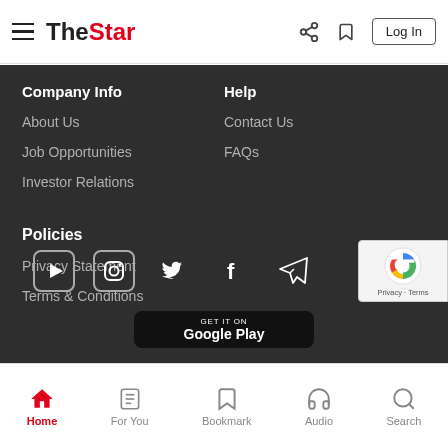TheStar - Log In
Company Info
About Us
Job Opportunities
Investor Relations
Help
Contact Us
FAQs
Policies
Privacy Statement
Terms & Conditions
[Figure (screenshot): Social media icons: YouTube, Instagram, Twitter, Facebook, Telegram]
[Figure (screenshot): reCAPTCHA badge with Privacy and Terms links]
[Figure (screenshot): Get it on Google Play button]
Home | For You | Bookmark | Audio | Search